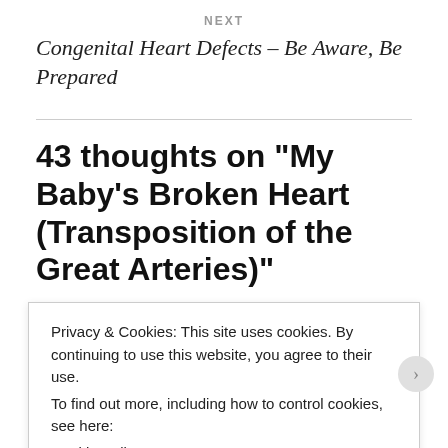NEXT
Congenital Heart Defects – Be Aware, Be Prepared
43 thoughts on “My Baby’s Broken Heart (Transposition of the Great Arteries)”
chicointhecity says:
Privacy & Cookies: This site uses cookies. By continuing to use this website, you agree to their use.
To find out more, including how to control cookies, see here:
Cookie Policy

Close and accept